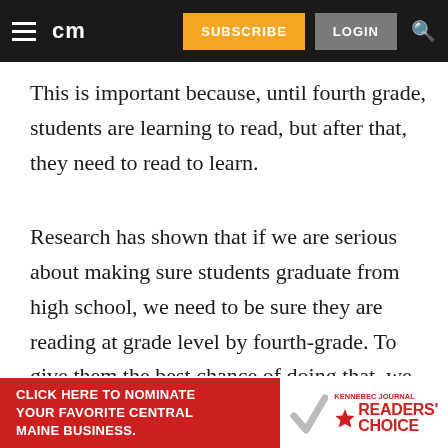cm  |  SUBSCRIBE  |  LOGIN
This is important because, until fourth grade, students are learning to read, but after that, they need to read to learn.
Research has shown that if we are serious about making sure students graduate from high school, we need to be sure they are reading at grade level by fourth-grade. To give them the best chance of doing that, we need to start when the majority of
[Figure (infographic): Red advertisement banner: CLICK HERE TO NOMINATE YOUR FAVORITE CENTRAL MAINE BUSINESS. Kennebec Journal Readers' Choice logo with star and checkmark.]